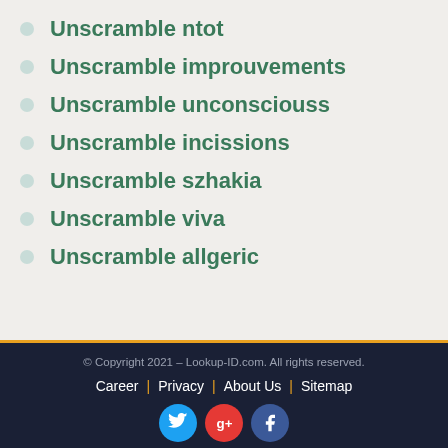Unscramble ntot
Unscramble improuvements
Unscramble unconsciouss
Unscramble incissions
Unscramble szhakia
Unscramble viva
Unscramble allgeric
© Copyright 2021 – Lookup-ID.com. All rights reserved. Career | Privacy | About Us | Sitemap